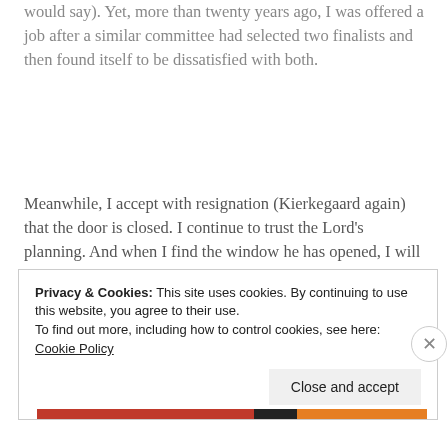would say). Yet, more than twenty years ago, I was offered a job after a similar committee had selected two finalists and then found itself to be dissatisfied with both.
Meanwhile, I accept with resignation (Kierkegaard again) that the door is closed. I continue to trust the Lord's planning. And when I find the window he has opened, I will jump through and run as fast as I can. J.
Privacy & Cookies: This site uses cookies. By continuing to use this website, you agree to their use.
To find out more, including how to control cookies, see here: Cookie Policy